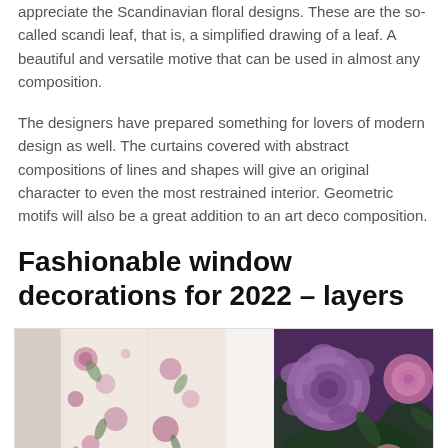appreciate the Scandinavian floral designs. These are the so-called scandi leaf, that is, a simplified drawing of a leaf. A beautiful and versatile motive that can be used in almost any composition.
The designers have prepared something for lovers of modern design as well. The curtains covered with abstract compositions of lines and shapes will give an original character to even the most restrained interior. Geometric motifs will also be a great addition to an art deco composition.
Fashionable window decorations for 2022 – layers
[Figure (photo): Two side-by-side photos: left shows floral patterned curtains with pink and purple flowers hanging near a window; right shows a close-up of purple and pink roses with green leaves.]